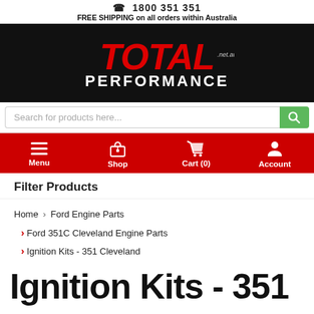1800 351 351
FREE SHIPPING on all orders within Australia
[Figure (logo): Total Performance .net.au logo — red italic TOTAL text with white PERFORMANCE below, on black background]
Search for products here...
Menu  Shop  Cart (0)  Account
Filter Products
Home › Ford Engine Parts › Ford 351C Cleveland Engine Parts › Ignition Kits - 351 Cleveland
Ignition Kits - 351